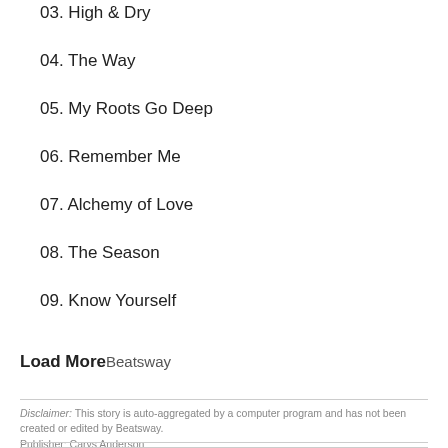03. High & Dry
04. The Way
05. My Roots Go Deep
06. Remember Me
07. Alchemy of Love
08. The Season
09. Know Yourself
Load More Beatsway
Disclaimer: This story is auto-aggregated by a computer program and has not been created or edited by Beatsway. Publisher: Carys Anderson